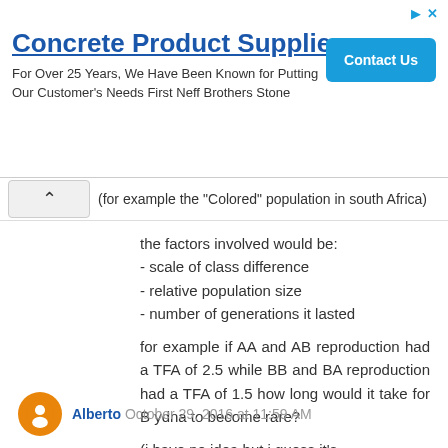[Figure (other): Advertisement banner for Concrete Product Supplier with Contact Us button]
(for example the "Colored" population in south Africa)
the factors involved would be:
- scale of class difference
- relative population size
- number of generations it lasted
for example if AA and AB reproduction had a TFA of 2.5 while BB and BA reproduction had a TFA of 1.5 how long would it take for B ydna to become rare?
(i have no idea but i guess it's calculatable?)
Reply
Alberto  October 29, 2016 at 11:59 AM